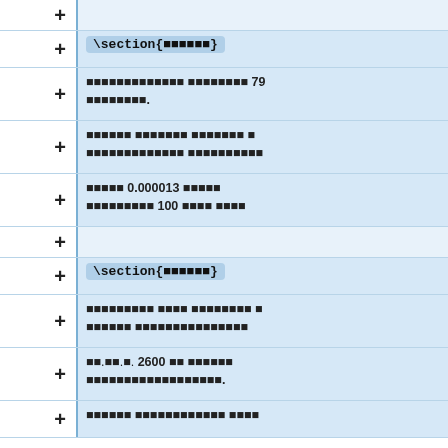+ (empty row)
+ \section{[Thai text]}
+ [Thai text] 79 [Thai text].
+ [Thai text] [Thai text] [Thai text] [Thai text] [Thai text]
+ [Thai text] 0.000013 [Thai text] 100 [Thai text]
+ (empty row)
+ \section{[Thai text]}
+ [Thai text] [Thai text] [Thai text]
+ พ.ศ. 2600 [Thai text].
+ [Thai text] [Thai text]